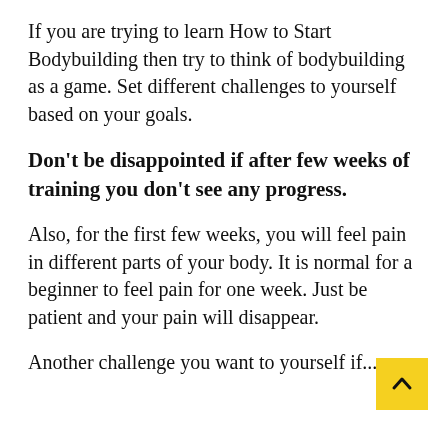If you are trying to learn How to Start Bodybuilding then try to think of bodybuilding as a game. Set different challenges to yourself based on your goals.
Don't be disappointed if after few weeks of training you don't see any progress.
Also, for the first few weeks, you will feel pain in different parts of your body. It is normal for a beginner to feel pain for one week. Just be patient and your pain will disappear.
Another challenge you want to yourself if...